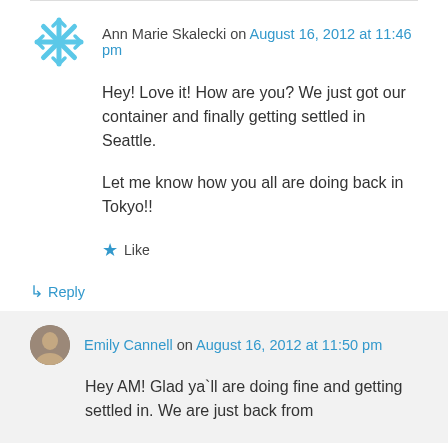Ann Marie Skalecki on August 16, 2012 at 11:46 pm
Hey! Love it! How are you? We just got our container and finally getting settled in Seattle.
Let me know how you all are doing back in Tokyo!!
★ Like
↳ Reply
Emily Cannell on August 16, 2012 at 11:50 pm
Hey AM! Glad ya`ll are doing fine and getting settled in. We are just back from